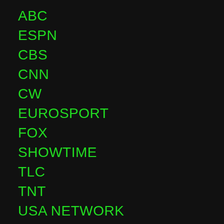ABC
ESPN
CBS
CNN
CW
EUROSPORT
FOX
SHOWTIME
TLC
TNT
USA NETWORK